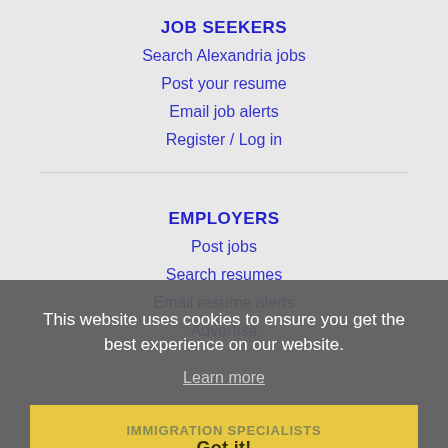JOB SEEKERS
Search Alexandria jobs
Post your resume
Email job alerts
Register / Log in
EMPLOYERS
Post jobs
Search resumes
Email resume alerts
Advertise
This website uses cookies to ensure you get the best experience on our website.
Learn more
IMMIGRATION SPECIALISTS
Got it!
Post jobs
Immigration FAQs